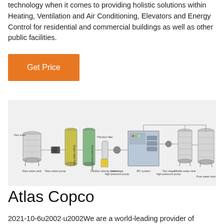technology when it comes to providing holistic solutions within Heating, Ventilation and Air Conditioning, Elevators and Energy Control for residential and commercial buildings as well as other public facilities.
Get Price
[Figure (schematic): Industrial water purification/RO system schematic showing components: Raw water tank, Raw water pump, Quartz sand filter, Activated carbon filter, Inhibitor dosing system, One stage high pressure pump, RO system, Two stage high pressure pump, Middle water tank, Pure water tank]
Atlas Copco
2021-10-6u2002·u2002We are a world-leading provider of